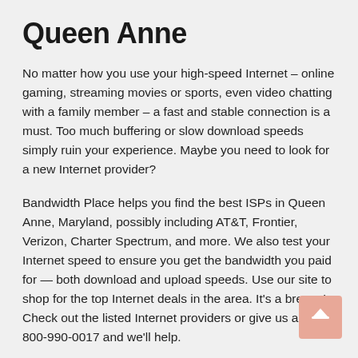Queen Anne
No matter how you use your high-speed Internet – online gaming, streaming movies or sports, even video chatting with a family member – a fast and stable connection is a must. Too much buffering or slow download speeds simply ruin your experience. Maybe you need to look for a new Internet provider?
Bandwidth Place helps you find the best ISPs in Queen Anne, Maryland, possibly including AT&T, Frontier, Verizon, Charter Spectrum, and more. We also test your Internet speed to ensure you get the bandwidth you paid for — both download and upload speeds. Use our site to shop for the top Internet deals in the area. It's a breeze! Check out the listed Internet providers or give us a call at 800-990-0017 and we'll help.